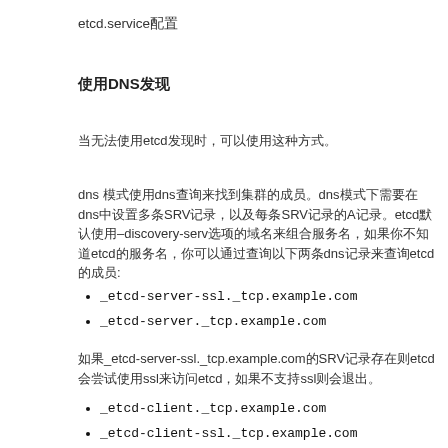etcd.service配置
使用DNS发现
当无法使用etcd发现时，可以使用这种方式。
dns 模式使用dns查询来找到集群的成员。dns模式下需要在dns中设置多条SRV记录，以及每条SRV记录的A记录。etcd默认使用–discovery-serv选项的域名来组合服务名，如果你不知道etcd的服务名,你可以通过查询以下两条dns记录来查询etcd的成员:
_etcd-server-ssl._tcp.example.com
_etcd-server._tcp.example.com
如果_etcd-server-ssl._tcp.example.com的SRV记录存在则etcd会尝试使用ssl来访问etcd，如果不支持ssl则会退出。如果你希望使用非ssl的，可以直接查询以下的客户端记录:
_etcd-client._tcp.example.com
_etcd-client-ssl._tcp.example.com